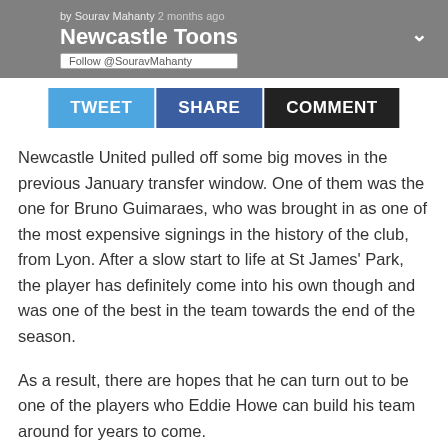by Sourav Mahanty 2 months ago
Newcastle Toons
Follow @SouravMahanty
[Figure (screenshot): Social sharing buttons: TWEET (light blue), SHARE (dark blue), COMMENT (dark/black)]
Newcastle United pulled off some big moves in the previous January transfer window. One of them was the one for Bruno Guimaraes, who was brought in as one of the most expensive signings in the history of the club, from Lyon. After a slow start to life at St James' Park, the player has definitely come into his own though and was one of the best in the team towards the end of the season.
As a result, there are hopes that he can turn out to be one of the players who Eddie Howe can build his team around for years to come.
Perhaps naturally, the Magpies have been linked with